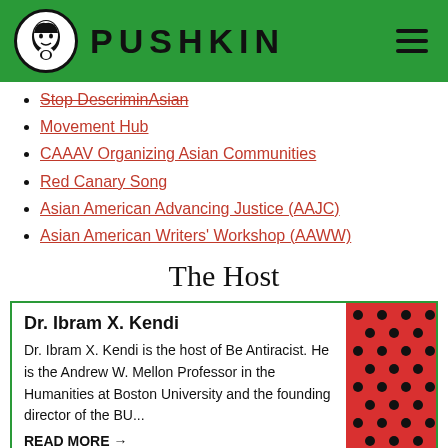PUSHKIN
Stop DescriminAsian
Movement Hub
CAAAV Organizing Asian Communities
Red Canary Song
Asian American Advancing Justice (AAJC)
Asian American Writers' Workshop (AAWW)
The Host
Dr. Ibram X. Kendi
Dr. Ibram X. Kendi is the host of Be Antiracist. He is the Andrew W. Mellon Professor in the Humanities at Boston University and the founding director of the BU...
READ MORE →